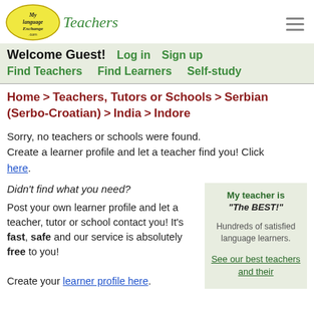MyLanguageExchange.com Teachers
Welcome Guest! Log in Sign up Find Teachers Find Learners Self-study
Home > Teachers, Tutors or Schools > Serbian (Serbo-Croatian) > India > Indore
Sorry, no teachers or schools were found. Create a learner profile and let a teacher find you! Click here.
Didn't find what you need?
Post your own learner profile and let a teacher, tutor or school contact you! It's fast, safe and our service is absolutely free to you!
Create your learner profile here.
My teacher is "The BEST!" Hundreds of satisfied language learners. See our best teachers and their